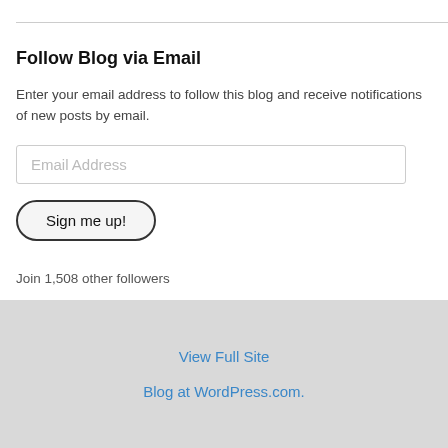Follow Blog via Email
Enter your email address to follow this blog and receive notifications of new posts by email.
[Figure (screenshot): Email address input field with placeholder text 'Email Address']
[Figure (screenshot): Button labeled 'Sign me up!']
Join 1,508 other followers
View Full Site
Blog at WordPress.com.